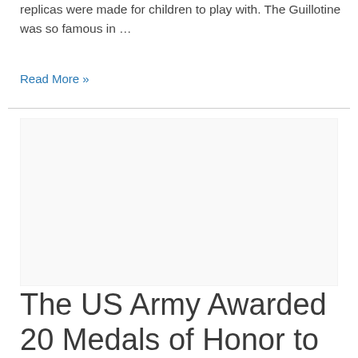replicas were made for children to play with. The Guillotine was so famous in …
Read More »
[Figure (other): Advertisement block (empty/placeholder)]
The US Army Awarded 20 Medals of Honor to Soldiers